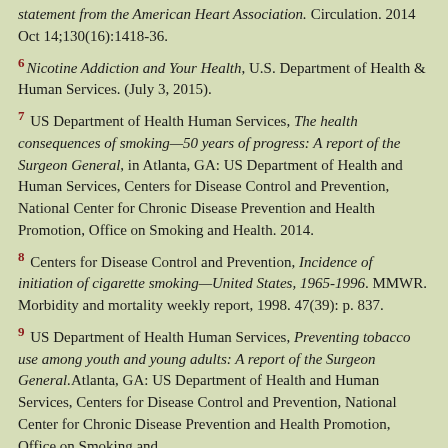statement from the American Heart Association. Circulation. 2014 Oct 14;130(16):1418-36.
6 Nicotine Addiction and Your Health, U.S. Department of Health & Human Services. (July 3, 2015).
7 US Department of Health Human Services, The health consequences of smoking—50 years of progress: A report of the Surgeon General, in Atlanta, GA: US Department of Health and Human Services, Centers for Disease Control and Prevention, National Center for Chronic Disease Prevention and Health Promotion, Office on Smoking and Health. 2014.
8 Centers for Disease Control and Prevention, Incidence of initiation of cigarette smoking—United States, 1965-1996. MMWR. Morbidity and mortality weekly report, 1998. 47(39): p. 837.
9 US Department of Health Human Services, Preventing tobacco use among youth and young adults: A report of the Surgeon General.Atlanta, GA: US Department of Health and Human Services, Centers for Disease Control and Prevention, National Center for Chronic Disease Prevention and Health Promotion, Office on Smoking and